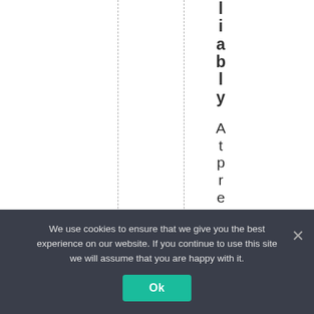liably At present, t
We use cookies to ensure that we give you the best experience on our website. If you continue to use this site we will assume that you are happy with it. Ok